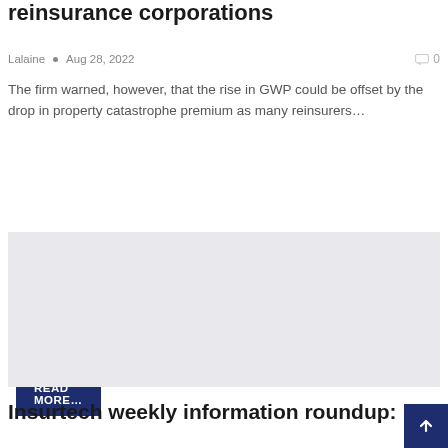reinsurance corporations
Lalaine  •  Aug 28, 2022   💬 0
The firm warned, however, that the rise in GWP could be offset by the drop in property catastrophe premium as many reinsurers…
READ MORE…
[Figure (photo): Placeholder image (light grey rectangle) for an article image]
Insurtech weekly information roundup: